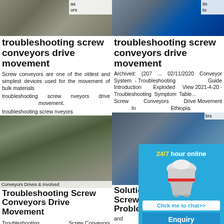[Figure (photo): Screw conveyor / quarry machinery photo top left]
as ors
Screw conveyors are one of the oldest and simplest devices used for the movement of bulk materials
[Figure (photo): Conveyor belt machinery photo top right]
its to
Archived: (207 ... 02/11/2020 Conveyor System - Troubleshooting Guide Introduction Exploded View 2021-4-20 · Troubleshooting Symptom Table... Screw Conveyors Drive Movement In Ethiopia.
troubleshooting screw conveyors drive movement
troubleshooting screw conveyors drive movement
troubleshooting screw nveyors drive movement.
troubleshooting screw nveyors
[Figure (photo): Industrial conveyor/quarry machinery mid left]
ng es om to ne ed, involved every step of the way.
[Figure (photo): Industrial conveyor facility mid right]
brs
Solutions... and Screw Conveyors Problem... screw con... The screw oldest screw used for an enclos...
Troubleshooting Screw Conveyors Drive Movement
Solutions Screw Conveyors Drive Movement
Troubleshooting Screw Conveyors Drive Movement. Drive Assembly - ETEC -
[Figure (photo): Industrial machinery bottom left]
es. ns. d
[Figure (photo): Industrial machinery bottom right]
[Figure (infographic): 24/7 hour online chat widget with crusher machine, Click me to chat>>, Enquiry, limingjlmofen]
24/7 hour online
Click me to chat>>
Enquiry
limingjlmofen